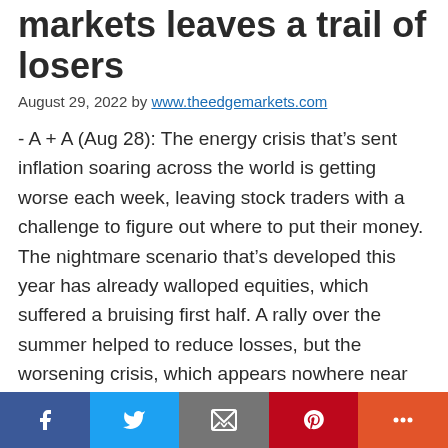markets leaves a trail of losers
August 29, 2022 by www.theedgemarkets.com
- A + A (Aug 28): The energy crisis that’s sent inflation soaring across the world is getting worse each week, leaving stock traders with a challenge to figure out where to put their money. The nightmare scenario that’s developed this year has already walloped equities, which suffered a bruising first half. A rally over the summer helped to reduce losses, but the worsening crisis, which appears nowhere near over, is putting up a huge hurdle to further gains. The surge in power prices, along with threats to supply, is affecting businesses from China to
[Figure (other): Social sharing bar with Facebook, Twitter, Email, Pinterest, and More buttons]